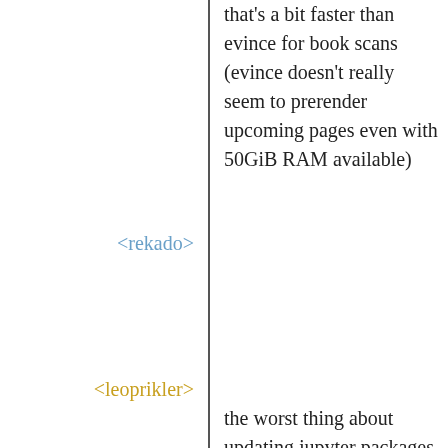that's a bit faster than evince for book scans (evince doesn't really seem to prerender upcoming pages even with 50GiB RAM available)
<rekado>
the worst thing about updating jupyter packages is that they all need each other for running their individual test suites.
<leoprikler>
from what I know about evince, it seems to keep ±2 pages of context